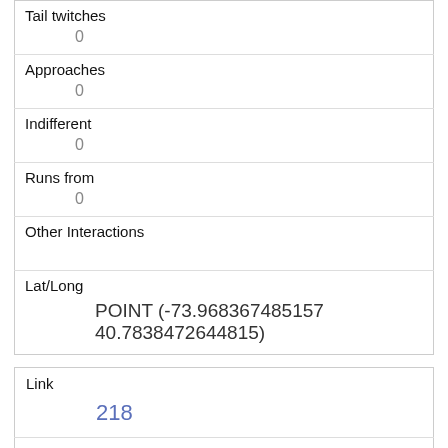| Field | Value |
| --- | --- |
| Tail twitches | 0 |
| Approaches | 0 |
| Indifferent | 0 |
| Runs from | 0 |
| Other Interactions |  |
| Lat/Long | POINT (-73.968367485157 40.7838472644815) |
| Field | Value |
| --- | --- |
| Link | 218 |
| rowid | 218 |
| longitude | -73.9712318712643 |
| latitude | 40.7773053099657 |